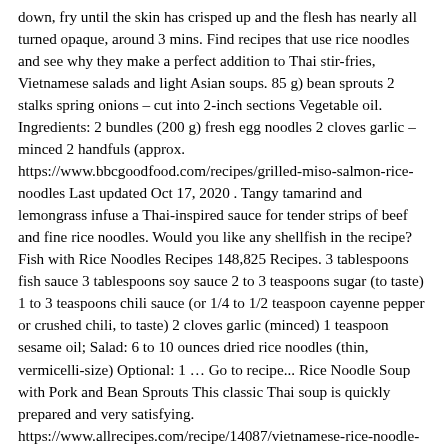down, fry until the skin has crisped up and the flesh has nearly all turned opaque, around 3 mins. Find recipes that use rice noodles and see why they make a perfect addition to Thai stir-fries, Vietnamese salads and light Asian soups. 85 g) bean sprouts 2 stalks spring onions – cut into 2-inch sections Vegetable oil. Ingredients: 2 bundles (200 g) fresh egg noodles 2 cloves garlic – minced 2 handfuls (approx. https://www.bbcgoodfood.com/recipes/grilled-miso-salmon-rice-noodles Last updated Oct 17, 2020 . Tangy tamarind and lemongrass infuse a Thai-inspired sauce for tender strips of beef and fine rice noodles. Would you like any shellfish in the recipe? Fish with Rice Noodles Recipes 148,825 Recipes. 3 tablespoons fish sauce 3 tablespoons soy sauce 2 to 3 teaspoons sugar (to taste) 1 to 3 teaspoons chili sauce (or 1/4 to 1/2 teaspoon cayenne pepper or crushed chili, to taste) 2 cloves garlic (minced) 1 teaspoon sesame oil; Salad: 6 to 10 ounces dried rice noodles (thin, vermicelli-size) Optional: 1 … Go to recipe... Rice Noodle Soup with Pork and Bean Sprouts This classic Thai soup is quickly prepared and very satisfying. https://www.allrecipes.com/recipe/14087/vietnamese-rice-noodle-salad This search takes into account your taste preferences. Stir-fried beef with fine noodles 2 reviews . My family loved the salad without the sauce, just tossed with the oil, scallions, and garlic. This recipe is easy to make vegetarian or vegan by just swapping out a couple of the sauce ingredients that contain seafood. They might have had a more open mind if I hadn't mentioned the "fish